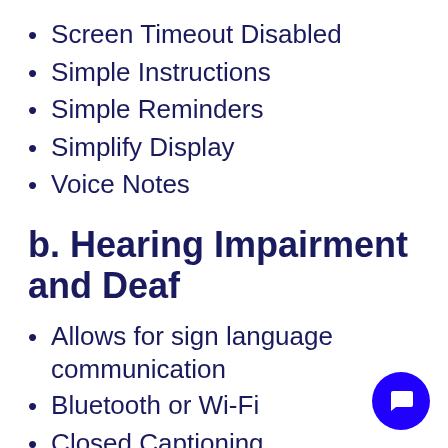Screen Timeout Disabled
Simple Instructions
Simple Reminders
Simplify Display
Voice Notes
b. Hearing Impairment and Deaf
Allows for sign language communication
Bluetooth or Wi-Fi
Closed Captioning
Front Facing Camera